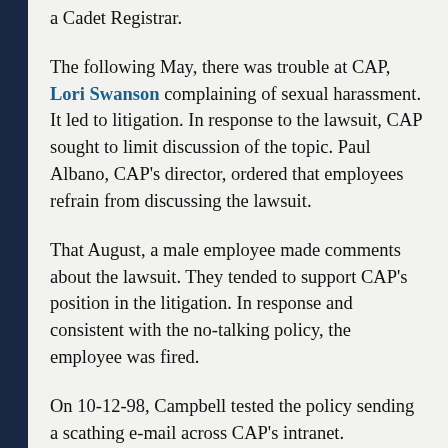a Cadet Registrar.
The following May, there was trouble at CAP, Lori Swanson complaining of sexual harassment. It led to litigation. In response to the lawsuit, CAP sought to limit discussion of the topic. Paul Albano, CAP's director, ordered that employees refrain from discussing the lawsuit.
That August, a male employee made comments about the lawsuit. They tended to support CAP's position in the litigation. In response and consistent with the no-talking policy, the employee was fired.
On 10-12-98, Campbell tested the policy sending a scathing e-mail across CAP's intranet. Potentially, it was received by as many as 50,000 people. In this e-mail, Campbell was highly critical of CAP, supporting Swanson's allegations